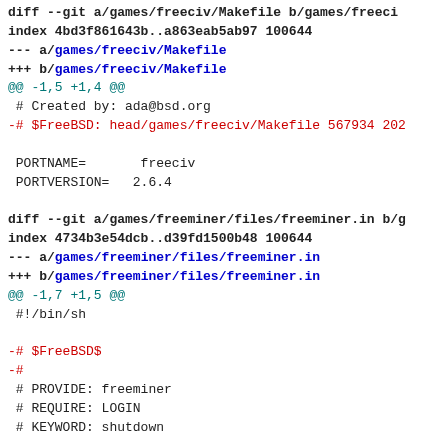diff --git a/games/freeciv/Makefile b/games/freeciv/Makefile
index 4bd3f861643b..a863eab5ab97 100644
--- a/games/freeciv/Makefile
+++ b/games/freeciv/Makefile
@@ -1,5 +1,4 @@
 # Created by: ada@bsd.org
-# $FreeBSD: head/games/freeciv/Makefile 567934 202...

 PORTNAME=       freeciv
 PORTVERSION=    2.6.4

diff --git a/games/freeminer/files/freeminer.in b/games/freeminer/files/freeminer.in
index 4734b3e54dcb..d39fd1500b48 100644
--- a/games/freeminer/files/freeminer.in
+++ b/games/freeminer/files/freeminer.in
@@ -1,7 +1,5 @@
 #!/bin/sh

-# $FreeBSD$
-#
 # PROVIDE: freeminer
 # REQUIRE: LOGIN
 # KEYWORD: shutdown

diff --git a/games/frikqcc/files/Makefile b/games/frikqcc/files/Makefile
index 78d1f98f6345..57f357dc747c 100644
--- a/games/frikqcc/files/Makefile
+++ b/games/frikqcc/files/Makefile
@@ -1,6 +1,3 @@
-#
 # $FreeBSD$